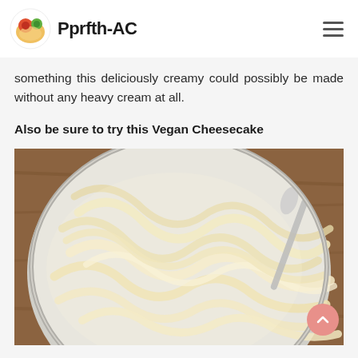Pprfth-AC
something this deliciously creamy could possibly be made without any heavy cream at all.
Also be sure to try this Vegan Cheesecake
[Figure (photo): Close-up photo of creamy fettuccine alfredo pasta in a silver pan, with a fork or spoon visible, on a wooden surface]